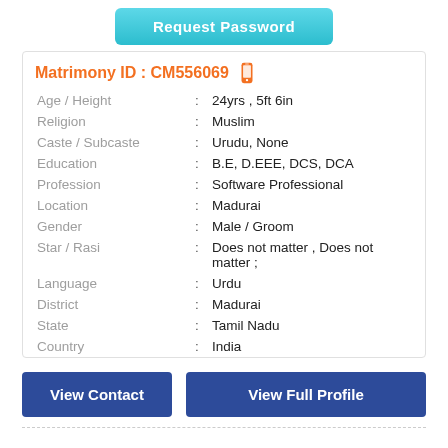[Figure (other): Request Password button — teal/cyan gradient rounded button]
Matrimony ID : CM556069
| Field | : | Value |
| --- | --- | --- |
| Age / Height | : | 24yrs , 5ft 6in |
| Religion | : | Muslim |
| Caste / Subcaste | : | Urudu, None |
| Education | : | B.E, D.EEE, DCS, DCA |
| Profession | : | Software Professional |
| Location | : | Madurai |
| Gender | : | Male / Groom |
| Star / Rasi | : | Does not matter , Does not matter ; |
| Language | : | Urdu |
| District | : | Madurai |
| State | : | Tamil Nadu |
| Country | : | India |
View Contact
View Full Profile